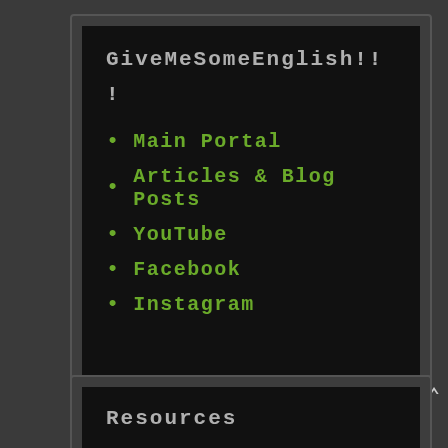GiveMeSomeEnglish!! !
Main Portal
Articles & Blog Posts
YouTube
Facebook
Instagram
Resources